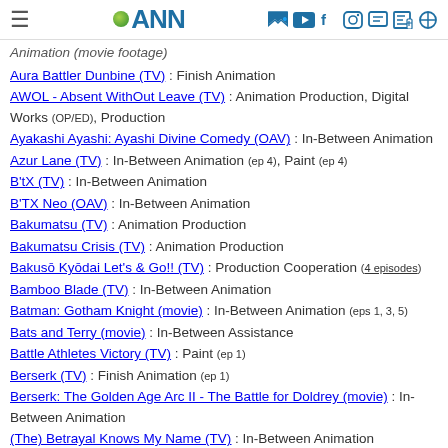ANN
Animation (movie footage)
Aura Battler Dunbine (TV) : Finish Animation
AWOL - Absent WithOut Leave (TV) : Animation Production, Digital Works (OP/ED), Production
Ayakashi Ayashi: Ayashi Divine Comedy (OAV) : In-Between Animation
Azur Lane (TV) : In-Between Animation (ep 4), Paint (ep 4)
B'tX (TV) : In-Between Animation
B'TX Neo (OAV) : In-Between Animation
Bakumatsu (TV) : Animation Production
Bakumatsu Crisis (TV) : Animation Production
Bakusō Kyōdai Let's & Go!! (TV) : Production Cooperation (4 episodes)
Bamboo Blade (TV) : In-Between Animation
Batman: Gotham Knight (movie) : In-Between Animation (eps 1, 3, 5)
Bats and Terry (movie) : In-Between Assistance
Battle Athletes Victory (TV) : Paint (ep 1)
Berserk (TV) : Finish Animation (ep 1)
Berserk: The Golden Age Arc II - The Battle for Doldrey (movie) : In-Between Animation
(The) Betrayal Knows My Name (TV) : In-Between Animation
Beyblade the Movie: Fierce Battle : Production